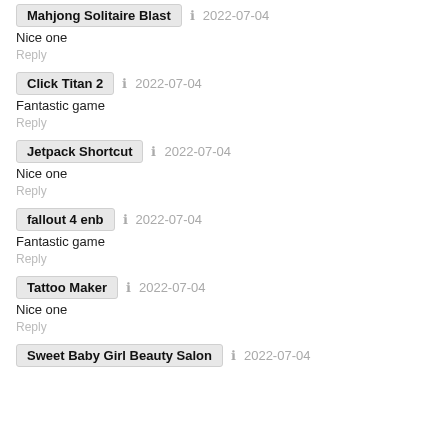Mahjong Solitaire Blast · 2022-07-04
Nice one
Reply
Click Titan 2 · 2022-07-04
Fantastic game
Reply
Jetpack Shortcut · 2022-07-04
Nice one
Reply
fallout 4 enb · 2022-07-04
Fantastic game
Reply
Tattoo Maker · 2022-07-04
Nice one
Reply
Sweet Baby Girl Beauty Salon · 2022-07-04